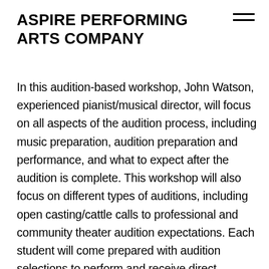ASPIRE PERFORMING ARTS COMPANY
In this audition-based workshop, John Watson, experienced pianist/musical director, will focus on all aspects of the audition process, including music preparation, audition preparation and performance, and what to expect after the audition is complete. This workshop will also focus on different types of auditions, including open casting/cattle calls to professional and community theater audition expectations. Each student will come prepared with audition selections to perform and receive direct coaching from John on their audition performance. Finally, you'll learn techniques to manage stress, like when the accompanist messes up or YOU mess up as well as other tips and tricks to get you through the process. This workshop is a MUST if you're